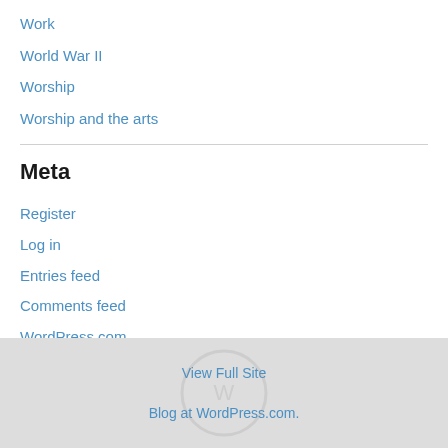Work
World War II
Worship
Worship and the arts
Meta
Register
Log in
Entries feed
Comments feed
WordPress.com
View Full Site
Blog at WordPress.com.